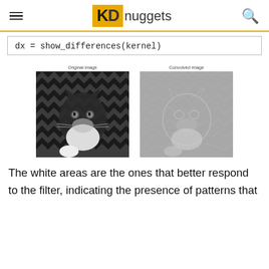KD nuggets
[Figure (photo): Two side-by-side images: left shows original grayscale photo of a kitten on a chevron-patterned blanket labeled 'Original image'; right shows the convolved version of the same image labeled 'Convolved image', appearing gray with embossed edge details]
The white areas are the ones that better respond to the filter, indicating the presence of patterns that...